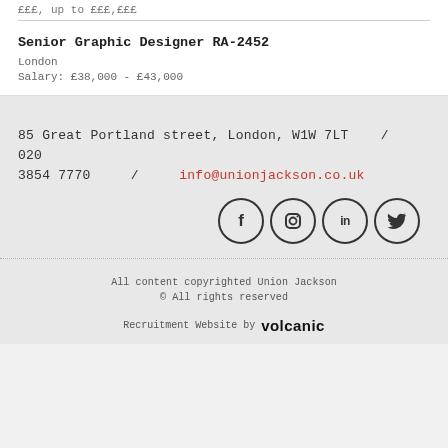£££, up to £££,£££
Senior Graphic Designer RA-2452
London
Salary: £38,000 - £43,000
85 Great Portland street, London, W1W 7LT    /    020 3854 7770    /    info@unionjackson.co.uk
[Figure (infographic): Four circular social media icons: Facebook (f), Instagram (camera), LinkedIn (in), Twitter (bird/y)]
All content copyrighted Union Jackson
© All rights reserved
Recruitment Website by volcanic